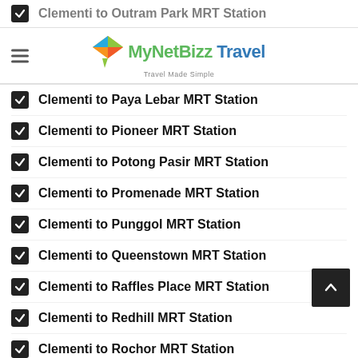Clementi to Outram Park MRT Station
[Figure (logo): MyNetBizz Travel logo with colorful diamond/kite icon and tagline 'Travel Made Simple']
Clementi to Paya Lebar MRT Station
Clementi to Pioneer MRT Station
Clementi to Potong Pasir MRT Station
Clementi to Promenade MRT Station
Clementi to Punggol MRT Station
Clementi to Queenstown MRT Station
Clementi to Raffles Place MRT Station
Clementi to Redhill MRT Station
Clementi to Rochor MRT Station
Clementi to Sembawang MRT Station
Clementi to Sengkang MRT Station
Clementi to Serangoon MRT Station